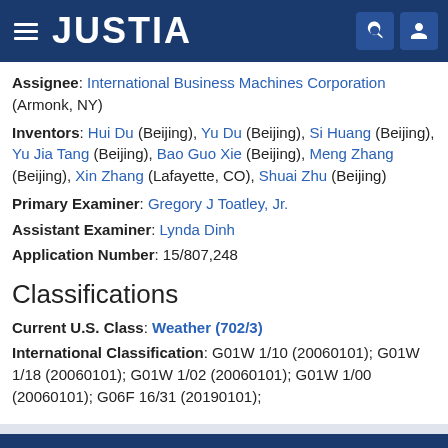JUSTIA
Assignee: International Business Machines Corporation (Armonk, NY)
Inventors: Hui Du (Beijing), Yu Du (Beijing), Si Huang (Beijing), Yu Jia Tang (Beijing), Bao Guo Xie (Beijing), Meng Zhang (Beijing), Xin Zhang (Lafayette, CO), Shuai Zhu (Beijing)
Primary Examiner: Gregory J Toatley, Jr.
Assistant Examiner: Lynda Dinh
Application Number: 15/807,248
Classifications
Current U.S. Class: Weather (702/3)
International Classification: G01W 1/10 (20060101); G01W 1/18 (20060101); G01W 1/02 (20060101); G01W 1/00 (20060101); G06F 16/31 (20190101);